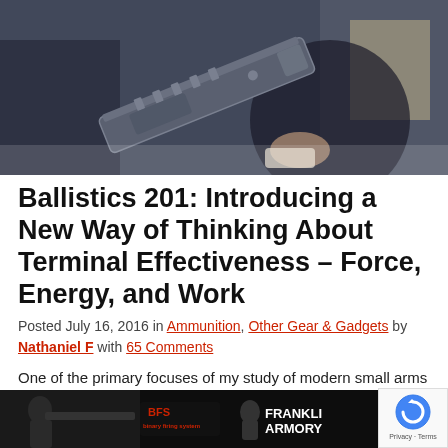[Figure (photo): Hero image showing a person holding a rifle/firearm, with an artistic/illustrated background overlay showing a historical figure.]
Ballistics 201: Introducing a New Way of Thinking About Terminal Effectiveness – Force, Energy, and Work
Posted July 16, 2016 in Ammunition, Other Gear & Gadgets by Nathaniel F with 65 Comments
One of the primary focuses of my study of modern small arms has been that of their terminal effectiveness, i.e. their "lethality" or "wounding", although neither of these latter terms are ex... [Read M...
[Figure (photo): Advertisement banner for Franklin Armory with a shooter image and BFS (Binary Firing System) logo on dark background.]